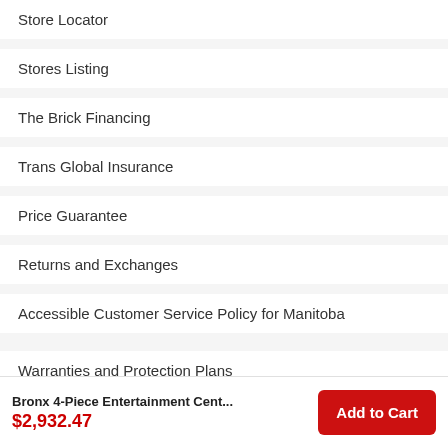Store Locator
Stores Listing
The Brick Financing
Trans Global Insurance
Price Guarantee
Returns and Exchanges
Accessible Customer Service Policy for Manitoba
Warranties and Protection Plans
Installation and Assembly
Appliance and Electronics Repairs
Shipping and Delivery
Delivery Tracking
Bronx 4-Piece Entertainment Cent...
$2,932.47
Add to Cart